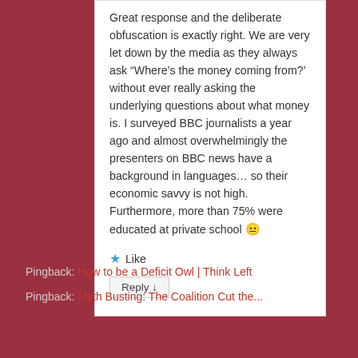Great response and the deliberate obfuscation is exactly right. We are very let down by the media as they always ask “Where’s the money coming from?’ without ever really asking the underlying questions about what money is. I surveyed BBC journalists a year ago and almost overwhelmingly the presenters on BBC news have a background in languages… so their economic savvy is not high. Furthermore, more than 75% were educated at private school 😐
★ Like
Reply ↓
Pingback: How to be a Deficit Owl | Think Left
Pingback: Myth Busting: The Coalition Cut the...